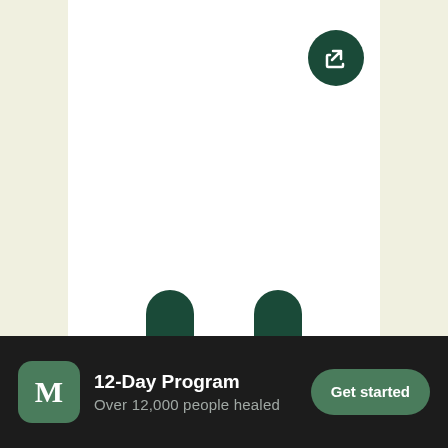[Figure (screenshot): App UI screenshot showing a recipe card for Hummus with a share button, category label 'Dips & Spreads', a green 'See recipe' button, and partially visible next card to the right.]
Hummus
Dips & Spreads
See recipe
12-Day Program
Over 12,000 people healed
Get started